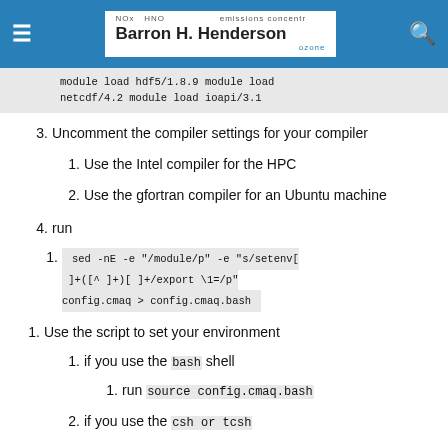Barron H. Henderson
module load hdf5/1.8.9 module load netcdf/4.2 module load ioapi/3.1
3. Uncomment the compiler settings for your compiler
1. Use the Intel compiler for the HPC
2. Use the gfortran compiler for an Ubuntu machine
4. run
1. sed -nE -e "/module/p" -e "s/setenv[ ]+([^ ]+)[ ]+/export \1=/p" config.cmaq > config.cmaq.bash
1. Use the script to set your environment
1. if you use the bash shell
1. run source config.cmaq.bash
2. if you use the csh or tcsh